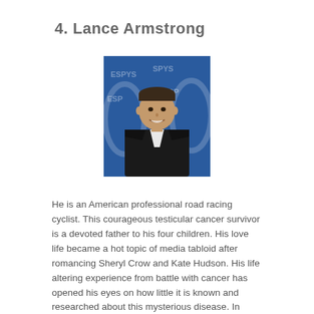4. Lance Armstrong
[Figure (photo): Portrait photo of Lance Armstrong at the ESPYs event, wearing a dark blazer and white v-neck shirt, smiling, against a blue ESPYS backdrop]
He is an American professional road racing cyclist. This courageous testicular cancer survivor is a devoted father to his four children. His love life became a hot topic of media tabloid after romancing Sheryl Crow and Kate Hudson. His life altering experience from battle with cancer has opened his eyes on how little it is known and researched about this mysterious disease. In efforts to raise the awareness and